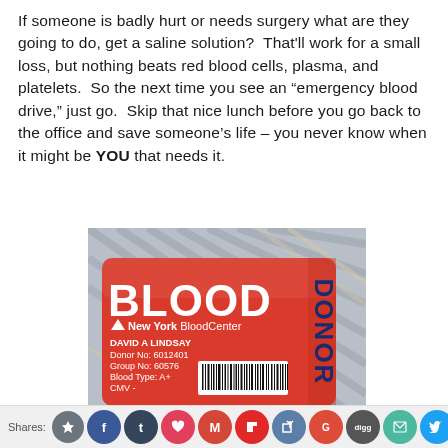If someone is badly hurt or needs surgery what are they going to do, get a saline solution?  That'll work for a small loss, but nothing beats red blood cells, plasma, and platelets.  So the next time you see an "emergency blood drive," just go.  Skip that nice lunch before you go back to the office and save someone's life – you never know when it might be YOU that needs it.
[Figure (photo): A red Blood Donor card from New York Blood Center lying on a striped fabric surface. Card shows: BLOOD DONOR in large text, New York Blood Center logo, DAVID A LINDSAY, Donor No: 6012401, Group No: 60576, Blood Type: A+, CMV-, and a barcode.]
Shares: [social media icons: Facebook, Tumblr, Heart/Pinterest, Gmail, Flipboard, Share, Google, Digg, Email/Envelope, Twitter]